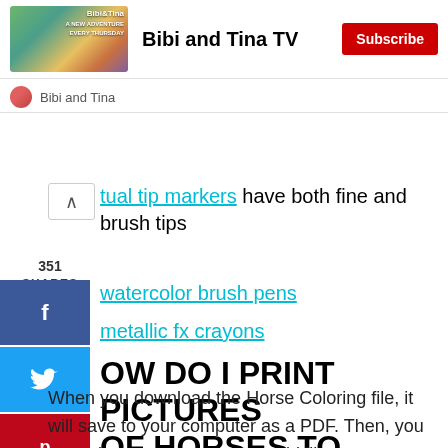[Figure (screenshot): YouTube channel banner for Bibi and Tina TV with thumbnail image showing characters]
Bibi and Tina TV
Subscribe
Bibi and Tina
tual tip markers have both fine and brush tips
351 SHARES
watercolor brush pens
metallic fx crayons
OW DO I PRINT PICTURES OF HORSES TO COLOR?
When you download the Horse Coloring file, it will save to your computer as a PDF. Then, you can print as many as you would like.